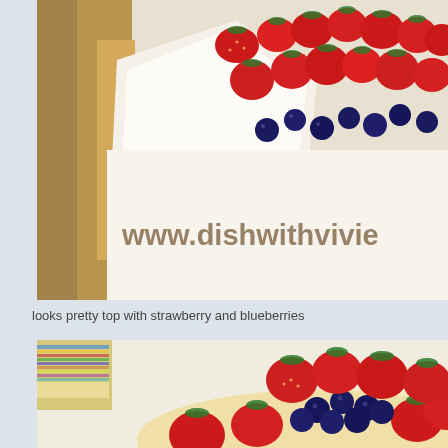[Figure (photo): Close-up photo of strawberries and blueberries on a cake or dessert, with a brown paper bag visible on the left. Watermark text 'www.dishwithvivie' visible in olive/gold color across the bottom of the image.]
looks pretty top with strawberry and blueberries
[Figure (photo): Close-up photo of a dessert/cake topped with strawberries arranged around the edge and blueberries piled in the center, on a light cream-colored base. A stack of papers/magazines visible in the upper left corner.]